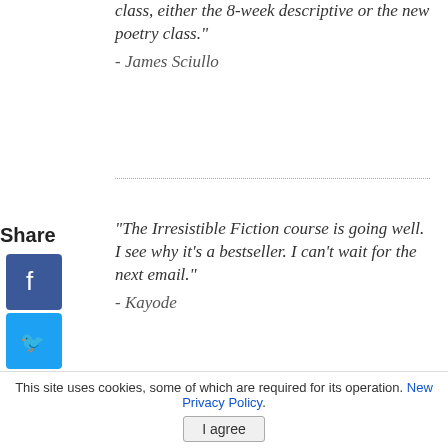class, either the 8-week descriptive or the new poetry class."
- James Sciullo
"The Irresistible Fiction course is going well. I see why it's a bestseller. I can't wait for the next email."
- Kayode
"Thank you so much for putting together this writing course. It was of good value to me as it got me started thinking more deeply about my
This site uses cookies, some of which are required for its operation. New Privacy Policy.
I agree